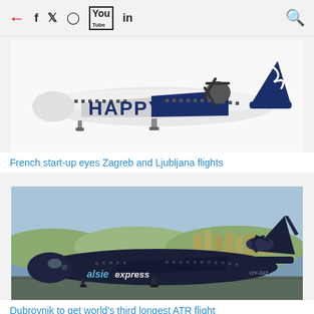← f 𝕏 📷 ▶ in 🔍
[Figure (photo): Side-view rendering of a white turboprop aircraft with dark navy blue tail and wing markings, labeled HAPPY on the fuselage]
French start-up eyes Zagreb and Ljubljana flights
[Figure (photo): Photo of a dark navy/black Alsie Express turboprop aircraft taxiing on runway with blurred city and hills background]
Dubrovnik to get world's third longest ATR flight